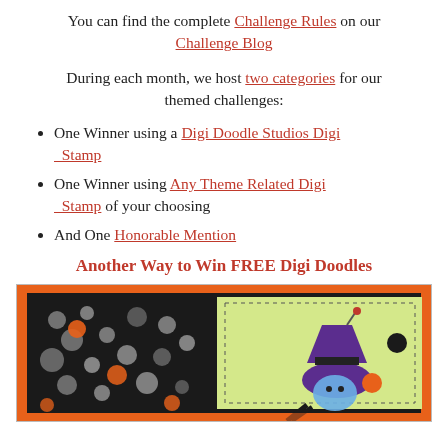You can find the complete Challenge Rules on our Challenge Blog
During each month, we host two categories for our themed challenges:
One Winner using a Digi Doodle Studios Digi Stamp
One Winner using Any Theme Related Digi Stamp of your choosing
And One Honorable Mention
Another Way to Win FREE Digi Doodles
[Figure (photo): Halloween craft card with orange and black patterned border, featuring a cartoon witch/character wearing a purple hat with orange and black decorative elements on a yellow-green background, with sequins/confetti on the left side.]